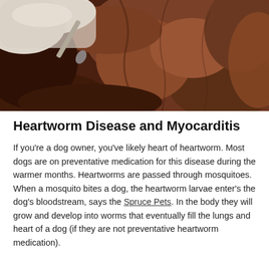[Figure (photo): Close-up photo of a gloved hand using a medical tool to examine the fur/skin of a brown dog, possibly checking for parasites or ticks.]
Heartworm Disease and Myocarditis
If you're a dog owner, you've likely heart of heartworm. Most dogs are on preventative medication for this disease during the warmer months. Heartworms are passed through mosquitoes. When a mosquito bites a dog, the heartworm larvae enter's the dog's bloodstream, says the Spruce Pets. In the body they will grow and develop into worms that eventually fill the lungs and heart of a dog (if they are not preventative heartworm medication).